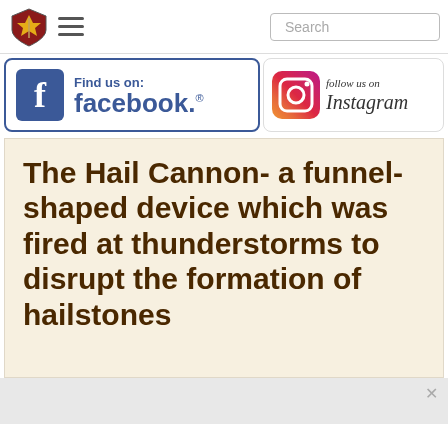[Figure (screenshot): Navigation bar with a shield logo, hamburger menu icon, and Search input box]
[Figure (logo): Find us on: facebook. banner with Facebook icon in blue]
[Figure (logo): follow us on Instagram banner with Instagram camera icon]
The Hail Cannon- a funnel-shaped device which was fired at thunderstorms to disrupt the formation of hailstones